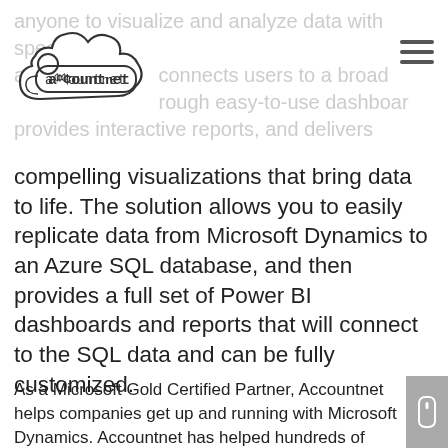[Figure (logo): accountnet cloud logo with typewriter-style text]
anyone to visualize and analyze data with speed and... connects users to a broad... through easy-to-use dashboards, provides interactive reports, and delivers compelling visualizations that bring data to life. The solution allows you to easily replicate data from Microsoft Dynamics to an Azure SQL database, and then provides a full set of Power BI dashboards and reports that will connect to the SQL data and can be fully customized.
As a Microsoft Gold Certified Partner, Accountnet helps companies get up and running with Microsoft Dynamics. Accountnet has helped hundreds of companies adopt a Microsoft Business solution that matches their business goals and has deployed it according to our clients' timetables and within their budgets. We are Gold Certified Partners for Microsoft Dynamics in New York City, serving